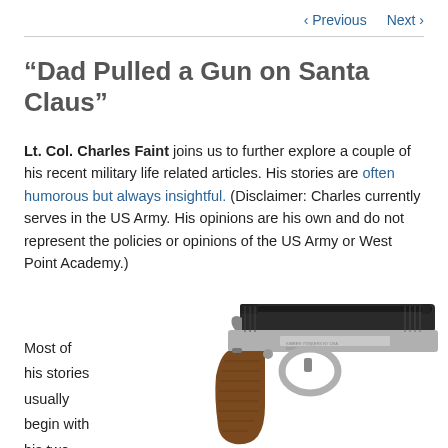< Previous   Next >
“Dad Pulled a Gun on Santa Claus”
Lt. Col. Charles Faint joins us to further explore a couple of his recent military life related articles. His stories are often humorous but always insightful. (Disclaimer: Charles currently serves in the US Army. His opinions are his own and do not represent the policies or opinions of the US Army or West Point Academy.)
Most of his stories usually begin with his two
[Figure (photo): A 1911-style semi-automatic pistol photographed at an angle, showing the barrel, slide, wooden grip, and silver frame against a white background.]